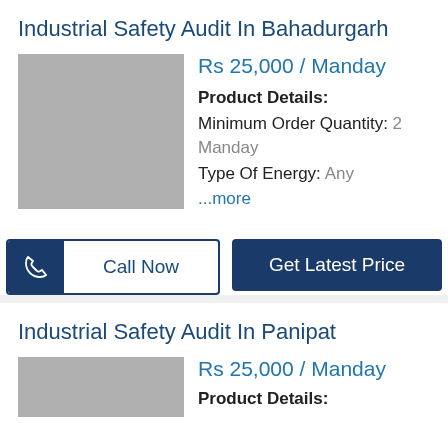Industrial Safety Audit In Bahadurgarh
Rs 25,000 / Manday
Product Details:
Minimum Order Quantity: 2 Manday
Type Of Energy: Any
...more
[Figure (photo): Product image placeholder (grey box)]
Call Now
Get Latest Price
Industrial Safety Audit In Panipat
Rs 25,000 / Manday
Product Details:
[Figure (photo): Product image placeholder (grey box)]